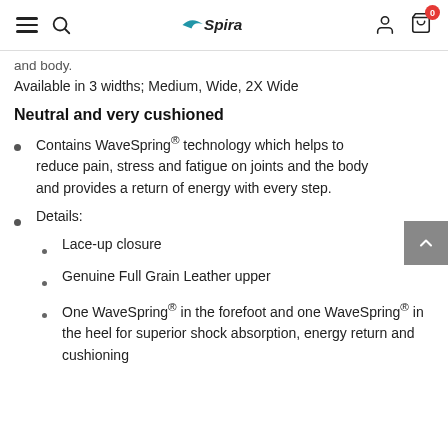Spira — navigation header with hamburger menu, search, logo, account and cart icons
and body.
Available in 3 widths; Medium, Wide, 2X Wide
Neutral and very cushioned
Contains WaveSpring® technology which helps to reduce pain, stress and fatigue on joints and the body and provides a return of energy with every step.
Details:
Lace-up closure
Genuine Full Grain Leather upper
One WaveSpring® in the forefoot and one WaveSpring® in the heel for superior shock absorption, energy return and cushioning